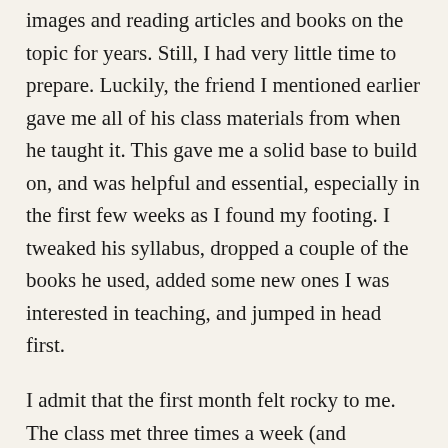images and reading articles and books on the topic for years. Still, I had very little time to prepare. Luckily, the friend I mentioned earlier gave me all of his class materials from when he taught it. This gave me a solid base to build on, and was helpful and essential, especially in the first few weeks as I found my footing. I tweaked his syllabus, dropped a couple of the books he used, added some new ones I was interested in teaching, and jumped in head first.
I admit that the first month felt rocky to me. The class met three times a week (and enormous thanks to my coworkers at Phantom of the Attic for juggling the schedule there to allow this to happen). I had a little difficulty finding my rhythm and figuring out how much I had time for in any